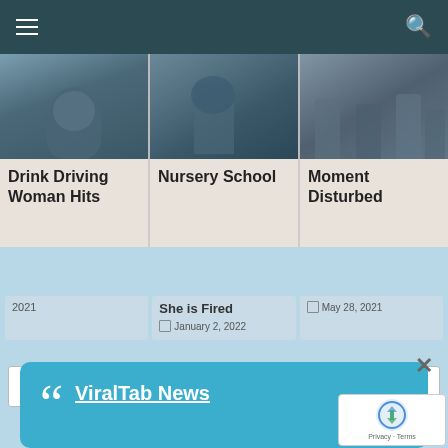[Figure (screenshot): Website navigation bar with hamburger menu icon on left and search icon on right, dark teal background]
[Figure (screenshot): Three article thumbnail images in a row showing: person's face, person on phone, group of people]
Drink Driving Woman Hits
Nursery School
Moment Disturbed
[Figure (screenshot): Blue popup dialog with quote mark icon and 'ViralTab News' underlined link, with X close button]
She is Fired
January 2, 2022
2021
May 28, 2021
Search
[Figure (screenshot): Google reCAPTCHA badge with logo, Privacy and Terms links]